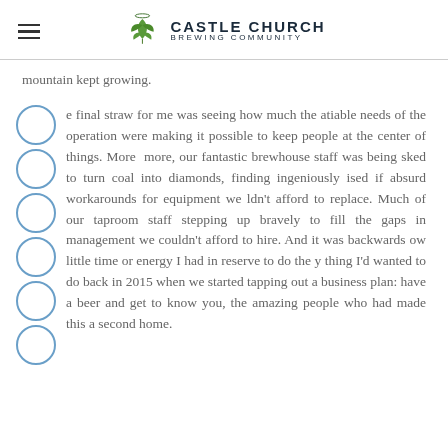CASTLE CHURCH BREWING COMMUNITY
mountain kept growing.
The final straw for me was seeing how much the insatiable needs of the operation were making it impossible to keep people at the center of things. More and more, our fantastic brewhouse staff was being asked to turn coal into diamonds, finding ingeniously devised if absurd workarounds for equipment we couldn't afford to replace. Much of our taproom staff was stepping up bravely to fill the gaps in management that we couldn't afford to hire. And it was backwards how little time or energy I had in reserve to do the very thing I'd wanted to do back in 2015 when we started tapping out a business plan: have a beer and get to know you, the amazing people who had made this a second home.